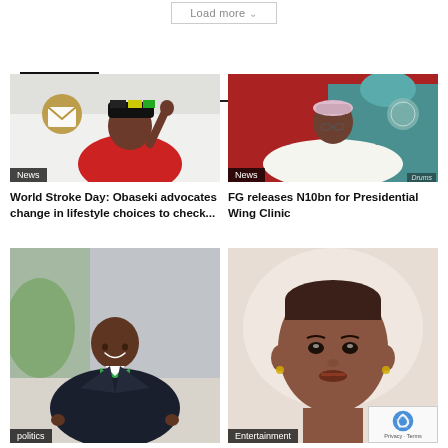Load more
NEWS
[Figure (photo): Man in red shirt with raised fist and colorful cap celebrating, with email envelope icon overlay]
News
World Stroke Day: Obaseki advocates change in lifestyle choices to check...
[Figure (photo): Man in white traditional garment and cap sitting at a desk with a laptop]
News
FG releases N10bn for Presidential Wing Clinic
[Figure (photo): Man in dark suit with green bow tie pointing with both hands]
politics
[Figure (photo): Young woman with close-cropped hair and earrings]
Entertainment